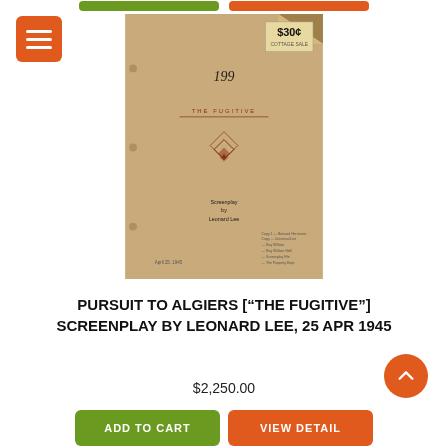[Figure (photo): Photograph of a tan/brown vintage screenplay cover titled 'The Fugitive' with handwritten number 199, a decorative diamond pattern, text 'Screenplay by Leonard Lee', dated April 25, 1945, with a price sticker reading $30 in the upper right corner.]
PURSUIT TO ALGIERS ["THE FUGITIVE"] SCREENPLAY BY LEONARD LEE, 25 APR 1945
$2,250.00